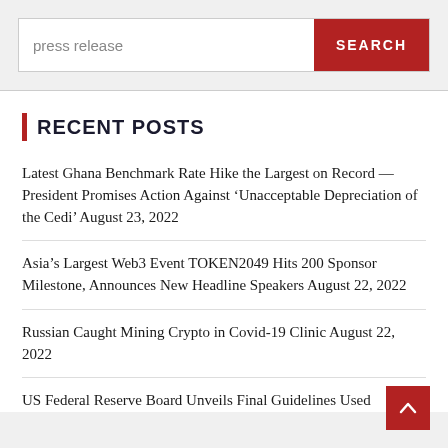press release
SEARCH
RECENT POSTS
Latest Ghana Benchmark Rate Hike the Largest on Record — President Promises Action Against ‘Unacceptable Depreciation of the Cedi’ August 23, 2022
Asia’s Largest Web3 Event TOKEN2049 Hits 200 Sponsor Milestone, Announces New Headline Speakers August 22, 2022
Russian Caught Mining Crypto in Covid-19 Clinic August 22, 2022
US Federal Reserve Board Unveils Final Guidelines Used